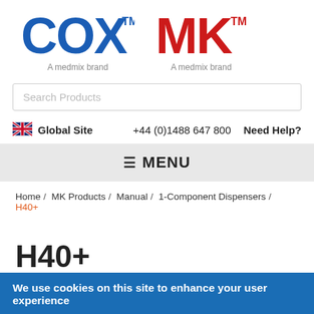[Figure (logo): COX trademark logo in blue with 'A medmix brand' below, and MK trademark logo in red with 'A medmix brand' below]
Search Products
Global Site   +44 (0)1488 647 800   Need Help?
≡ MENU
Home / MK Products / Manual / 1-Component Dispensers / H40+
H40+
We use cookies on this site to enhance your user experience